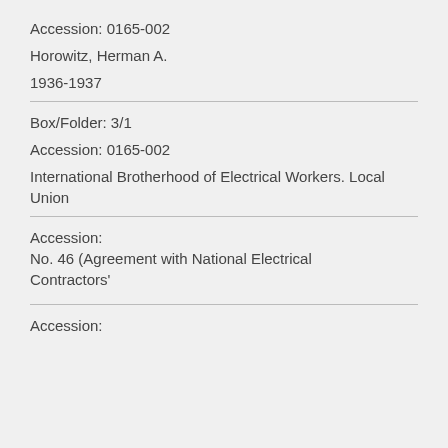Accession: 0165-002
Horowitz, Herman A.
1936-1937
Box/Folder: 3/1
Accession: 0165-002
International Brotherhood of Electrical Workers. Local Union
Accession:
No. 46 (Agreement with National Electrical Contractors'
Accession: